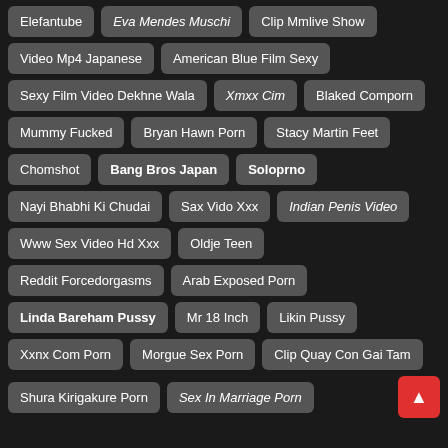Elefantube
Eva Mendes Muschi
Clip Mmlive Show
Video Mp4 Japanese
American Blue Film Sexy
Sexy Film Video Dekhne Wala
Xmxx Cim
Blaked Comporn
Mummy Fucked
Bryan Hawn Porn
Stacy Martin Feet
Chomshot
Bang Bros Japan
Soloprno
Nayi Bhabhi Ki Chudai
Sax Vido Xxx
Indian Penis Video
Www Sex Video Hd Xxx
Oldje Teen
Reddit Forcedorgasms
Arab Exposed Porn
Linda Bareham Pussy
Mr 18 Inch
Likin Pussy
Xxnx Com Porn
Morgue Sex Porn
Clip Quay Con Gai Tam
Shura Kirigakure Porn
Sex In Marriage Porn